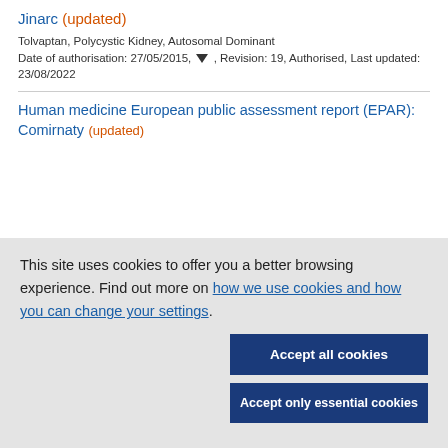Jinarc (updated)
Tolvaptan, Polycystic Kidney, Autosomal Dominant
Date of authorisation: 27/05/2015, ▼ , Revision: 19, Authorised, Last updated: 23/08/2022
Human medicine European public assessment report (EPAR): Comirnaty (updated)
This site uses cookies to offer you a better browsing experience. Find out more on how we use cookies and how you can change your settings.
Accept all cookies
Accept only essential cookies